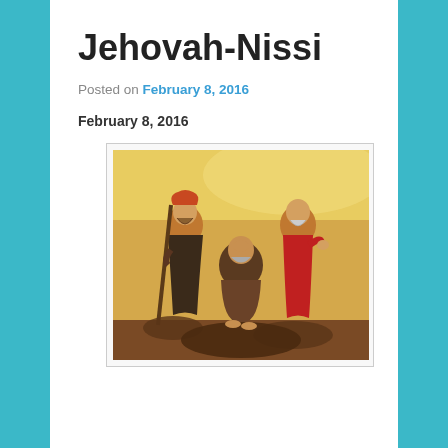Jehovah-Nissi
Posted on February 8, 2016
February 8, 2016
[Figure (illustration): A classical religious painting depicting three figures — possibly Moses, Aaron and Hur — on rocky ground. A central seated figure with a grey beard is supported by two standing figures on either side. The left figure wears dark robes and holds a staff, while the right figure is dressed in red robes. The background is a warm golden-yellow sky.]